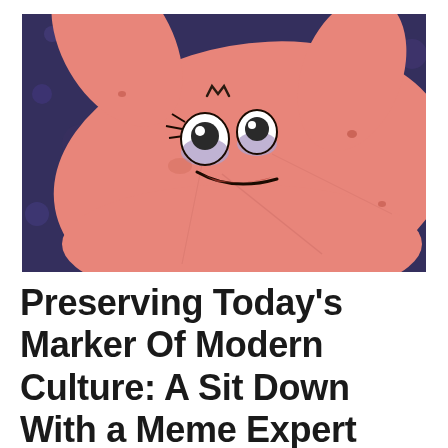[Figure (illustration): Close-up cartoon image of Patrick Star from SpongeBob SquarePants, showing his pink star-shaped body with a mischievous/sneaky facial expression, wide eyes with purple eyelids, and a sly smile. The background shows a dark blue/purple textured surface.]
Preserving Today's Marker Of Modern Culture: A Sit Down With a Meme Expert